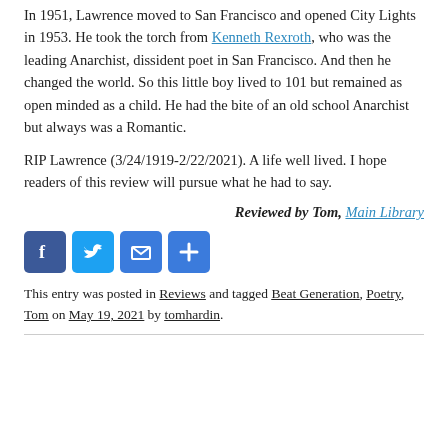In 1951, Lawrence moved to San Francisco and opened City Lights in 1953. He took the torch from Kenneth Rexroth, who was the leading Anarchist, dissident poet in San Francisco. And then he changed the world. So this little boy lived to 101 but remained as open minded as a child. He had the bite of an old school Anarchist but always was a Romantic.
RIP Lawrence (3/24/1919-2/22/2021). A life well lived. I hope readers of this review will pursue what he had to say.
Reviewed by Tom, Main Library
[Figure (other): Social sharing icons: Facebook, Twitter, Email, Share (plus sign)]
This entry was posted in Reviews and tagged Beat Generation, Poetry, Tom on May 19, 2021 by tomhardin.